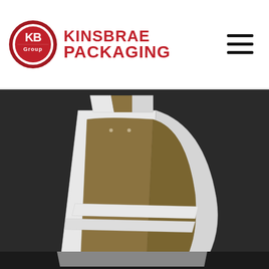[Figure (logo): Kinsbrae Packaging logo with KB badge and company name]
[Figure (photo): Cardboard display stand / retail floor display unit made of corrugated cardboard with white exterior and brown kraft interior, photographed against a dark background]